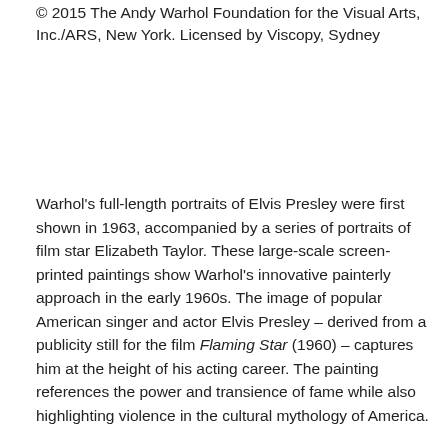© 2015 The Andy Warhol Foundation for the Visual Arts, Inc./ARS, New York. Licensed by Viscopy, Sydney
Warhol's full-length portraits of Elvis Presley were first shown in 1963, accompanied by a series of portraits of film star Elizabeth Taylor. These large-scale screen-printed paintings show Warhol's innovative painterly approach in the early 1960s. The image of popular American singer and actor Elvis Presley – derived from a publicity still for the film Flaming Star (1960) – captures him at the height of his acting career. The painting references the power and transience of fame while also highlighting violence in the cultural mythology of America.